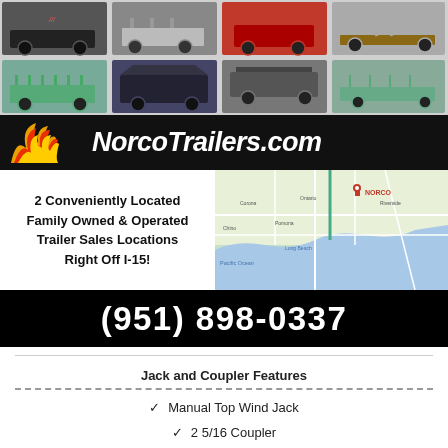[Figure (illustration): Grid of trailer product photos showing various types: enclosed trailer, horse trailer, flatbed, dump trailer, utility trailer, cargo trailer, etc.]
[Figure (logo): NorcoTrailers.com logo with flame graphic on black background]
2 Conveniently Located Family Owned & Operated Trailer Sales Locations Right Off I-15!
[Figure (map): Google Maps screenshot showing Southern California area with Norco marked]
(951) 898-0337
Jack and Coupler Features
Manual Top Wind Jack
2 5/16 Coupler